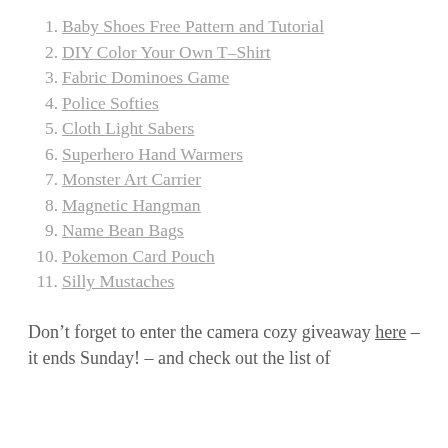1. Baby Shoes Free Pattern and Tutorial
2. DIY Color Your Own T-Shirt
3. Fabric Dominoes Game
4. Police Softies
5. Cloth Light Sabers
6. Superhero Hand Warmers
7. Monster Art Carrier
8. Magnetic Hangman
9. Name Bean Bags
10. Pokemon Card Pouch
11. Silly Mustaches
Don't forget to enter the camera cozy giveaway here – it ends Sunday! – and check out the list of